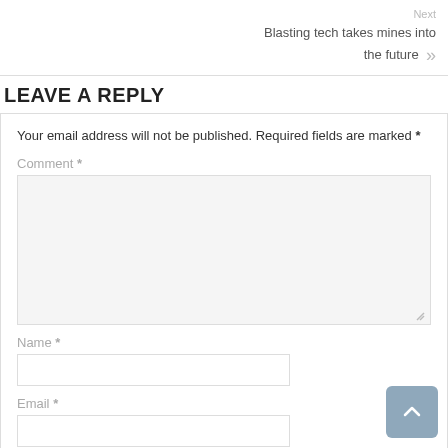Next
Blasting tech takes mines into the future »
LEAVE A REPLY
Your email address will not be published. Required fields are marked *
Comment *
Name *
Email *